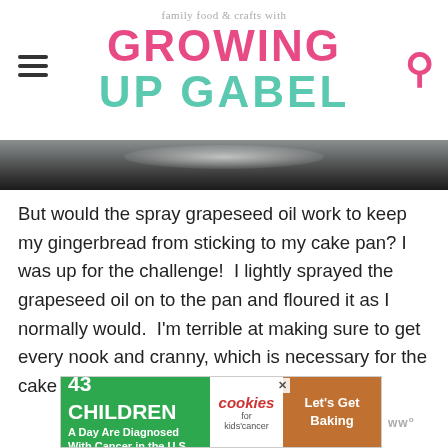family food & crafts with GROWING UP GABEL
[Figure (photo): Partial photo strip showing dark baking pan with flour or ingredient, top portion visible]
But would the spray grapeseed oil work to keep my gingerbread from sticking to my cake pan? I was up for the challenge!  I lightly sprayed the grapeseed oil on to the pan and floured it as I normally would.  I'm terrible at making sure to get every nook and cranny, which is necessary for the cake not to stick.
[Figure (other): Advertisement banner: 43 CHILDREN A Day Are Diagnosed With Cancer in the U.S. — cookies for kids cancer — Let's Get Baking]